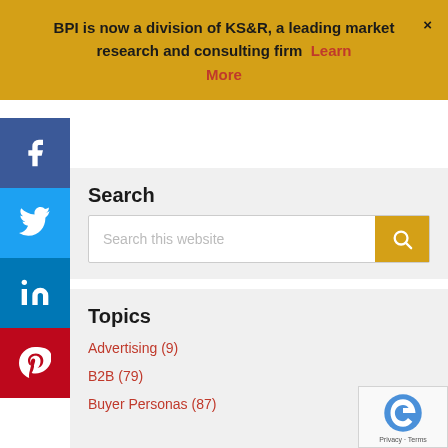BPI is now a division of KS&R, a leading market research and consulting firm  Learn More  ×
Search
Search this website
Topics
Advertising (9)
B2B (79)
Buyer Personas (87)